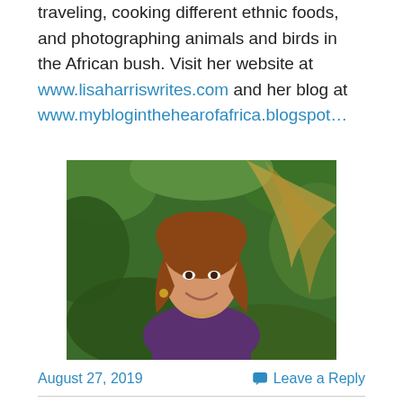traveling, cooking different ethnic foods, and photographing animals and birds in the African bush. Visit her website at www.lisaharriswrites.com and her blog at www.mybloginthehearofafrica.blogspot…
[Figure (photo): Portrait photo of a woman with long reddish-brown hair, smiling, wearing a purple top, with green tropical foliage in the background.]
August 27, 2019
Leave a Reply
Fire Storm, Kaely Quinn, Profiler #2, by Nancy Mehl